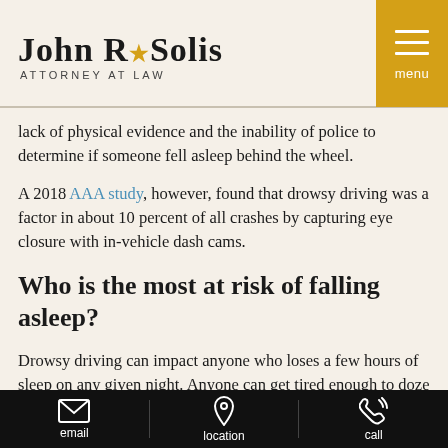John R. Solis ATTORNEY AT LAW
lack of physical evidence and the inability of police to determine if someone fell asleep behind the wheel.
A 2018 AAA study, however, found that drowsy driving was a factor in about 10 percent of all crashes by capturing eye closure with in-vehicle dash cams.
Who is the most at risk of falling asleep?
Drowsy driving can impact anyone who loses a few hours of sleep on any given night. Anyone can get tired enough to doze off when driving late at night or driving under the influence of alcohol or drugs. For certain people, however, the risk of drowsy driving is more routine. Risk factors often include:
email | location | call